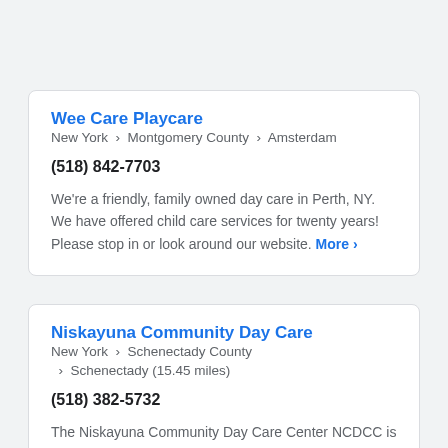Wee Care Playcare
New York › Montgomery County › Amsterdam
(518) 842-7703
We're a friendly, family owned day care in Perth, NY. We have offered child care services for twenty years! Please stop in or look around our website. More ›
Niskayuna Community Day Care
New York › Schenectady County › Schenectady (15.45 miles)
(518) 382-5732
The Niskayuna Community Day Care Center NCDCC is a non-profit day care facility which has been servicing the